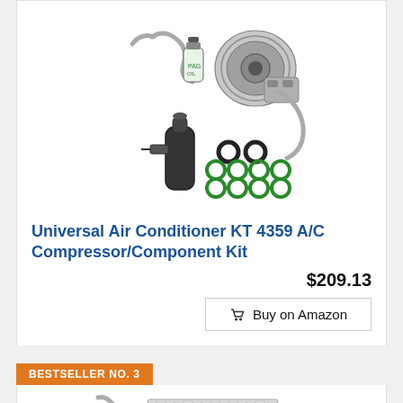[Figure (photo): AC compressor/component kit product photo showing compressor, accumulator, o-rings, hoses and oil bottle]
Universal Air Conditioner KT 4359 A/C Compressor/Component Kit
$209.13
Buy on Amazon
BESTSELLER NO. 3
[Figure (photo): AC condenser product photo showing condenser unit with hoses]